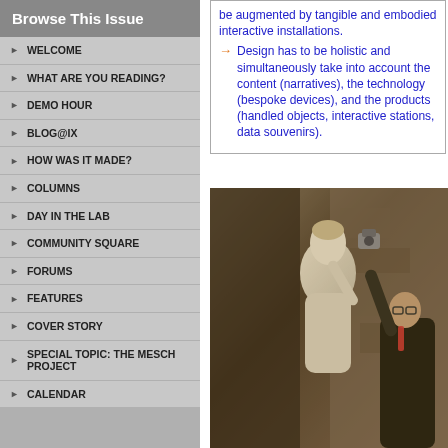Browse This Issue
WELCOME
WHAT ARE YOU READING?
DEMO HOUR
BLOG@IX
HOW WAS IT MADE?
COLUMNS
DAY IN THE LAB
COMMUNITY SQUARE
FORUMS
FEATURES
COVER STORY
SPECIAL TOPIC: THE MESCH PROJECT
CALENDAR
be augmented by tangible and embodied interactive installations. Design has to be holistic and simultaneously take into account the content (narratives), the technology (bespoke devices), and the products (handled objects, interactive stations, data souvenirs).
[Figure (photo): A person holding a camera or device photographing a classical marble statue (Venus de Milo style), outdoors near ancient stone walls. Sepia-toned photograph.]